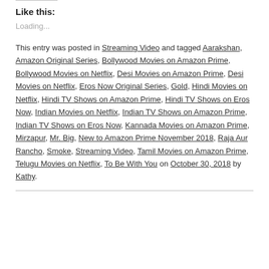Like this:
Loading...
This entry was posted in Streaming Video and tagged Aarakshan, Amazon Original Series, Bollywood Movies on Amazon Prime, Bollywood Movies on Netflix, Desi Movies on Amazon Prime, Desi Movies on Netflix, Eros Now Original Series, Gold, Hindi Movies on Netflix, Hindi TV Shows on Amazon Prime, Hindi TV Shows on Eros Now, Indian Movies on Netflix, Indian TV Shows on Amazon Prime, Indian TV Shows on Eros Now, Kannada Movies on Amazon Prime, Mirzapur, Mr. Big, New to Amazon Prime November 2018, Raja Aur Rancho, Smoke, Streaming Video, Tamil Movies on Amazon Prime, Telugu Movies on Netflix, To Be With You on October 30, 2018 by Kathy.